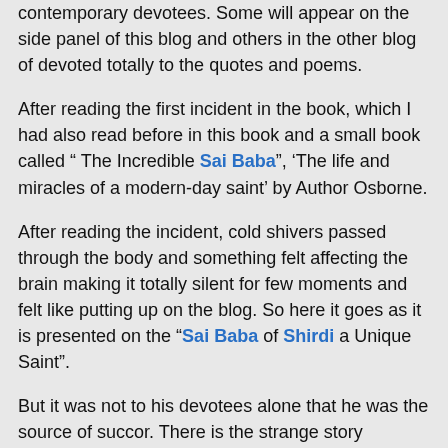contemporary devotees. Some will appear on the side panel of this blog and others in the other blog of devoted totally to the quotes and poems.
After reading the first incident in the book, which I had also read before in this book and a small book called “ The Incredible Sai Baba”, ‘The life and miracles of a modern-day saint’ by Author Osborne.
After reading the incident, cold shivers passed through the body and something felt affecting the brain making it totally silent for few moments and felt like putting up on the blog. So here it goes as it is presented on the “Sai Baba of Shirdi a Unique Saint”.
But it was not to his devotees alone that he was the source of succor. There is the strange story recounted by a Londoner Arthur Osborne, born in London, educated at Christ Church, Oxford who lived in India for several years and was deeply interested in spirituality and has written a small book entitled the Incredible Sai Baba.